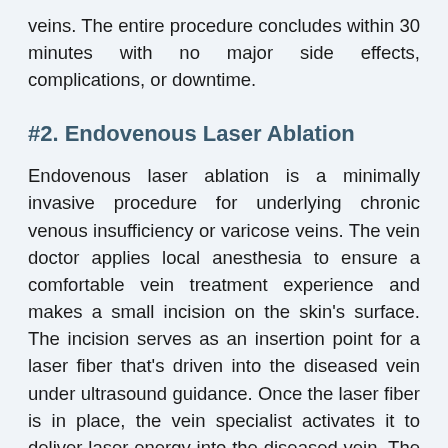veins. The entire procedure concludes within 30 minutes with no major side effects, complications, or downtime.
#2. Endovenous Laser Ablation
Endovenous laser ablation is a minimally invasive procedure for underlying chronic venous insufficiency or varicose veins. The vein doctor applies local anesthesia to ensure a comfortable vein treatment experience and makes a small incision on the skin's surface. The incision serves as an insertion point for a laser fiber that's driven into the diseased vein under ultrasound guidance. Once the laser fiber is in place, the vein specialist activates it to deliver laser energy into the diseased vein. The problematic vein is destroyed, and the accumulated blood reroutes to healthier leg veins, restoring effective blood